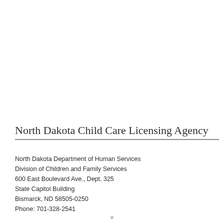North Dakota Child Care Licensing Agency
North Dakota Department of Human Services
Division of Children and Family Services
600 East Boulevard Ave., Dept. 325
State Capitol Building
Bismarck, ND 58505-0250
Phone: 701-328-2541
v